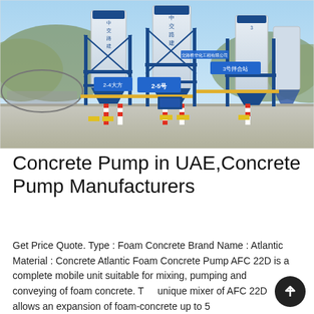[Figure (photo): Outdoor concrete batching plant with large white cylindrical silos labeled in Chinese characters (中交路建), blue steel support structures, yellow safety markings on posts, and a large paved concrete area in the foreground. Mountains and trees visible in the background under a blue sky.]
Concrete Pump in UAE,Concrete Pump Manufacturers
Get Price Quote. Type : Foam Concrete Brand Name : Atlantic Material : Concrete Atlantic Foam Concrete Pump AFC 22D is a complete mobile unit suitable for mixing, pumping and conveying of foam concrete. The unique mixer of AFC 22D allows an expansion of foam-concrete up to 5